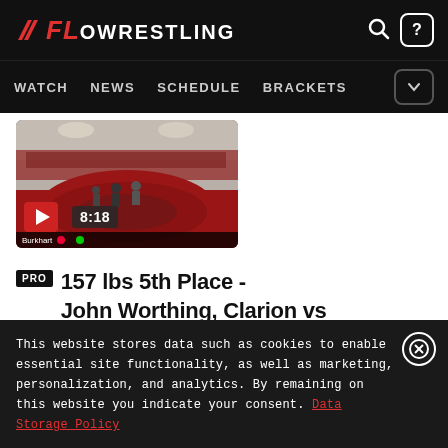FLOWRESTLING — WATCH NEWS SCHEDULE BRACKETS
[Figure (screenshot): Wrestling match video thumbnail showing wrestlers on a mat with crowd in background, duration 8:18]
PRO 157 lbs 5th Place - John Worthing, Clarion vs AJ Burkhart, Lehigh
This website stores data such as cookies to enable essential site functionality, as well as marketing, personalization, and analytics. By remaining on this website you indicate your consent. Data Storage Policy